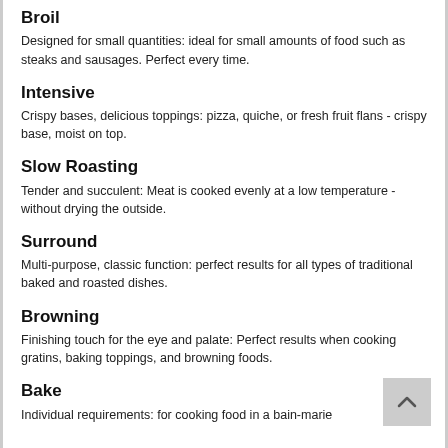Broil
Designed for small quantities: ideal for small amounts of food such as steaks and sausages. Perfect every time.
Intensive
Crispy bases, delicious toppings: pizza, quiche, or fresh fruit flans - crispy base, moist on top.
Slow Roasting
Tender and succulent: Meat is cooked evenly at a low temperature - without drying the outside.
Surround
Multi-purpose, classic function: perfect results for all types of traditional baked and roasted dishes.
Browning
Finishing touch for the eye and palate: Perfect results when cooking gratins, baking toppings, and browning foods.
Bake
Individual requirements: for cooking food in a bain-marie or for keeping food warm, etc.